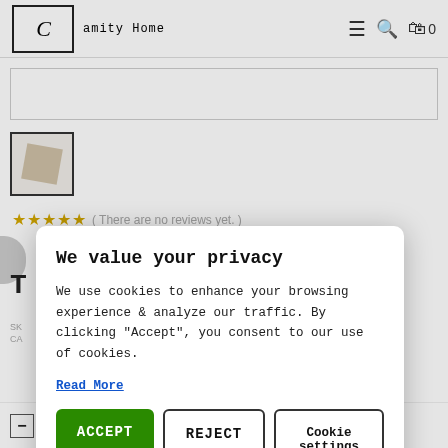Amity Home — navigation bar with hamburger menu, search, and cart (0 items)
[Figure (screenshot): Product page background showing a search/image bar, a small product thumbnail (beige/tan square), 5-star rating with text 'There are no reviews yet.', partial UI elements, and an Add to Cart bottom bar with quantity controls (- 1 +) and a dark 'ADD TO CART' button with bag icon.]
We value your privacy

We use cookies to enhance your browsing experience & analyze our traffic. By clicking "Accept", you consent to our use of cookies.

Read More
ACCEPT
REJECT
Cookie settings